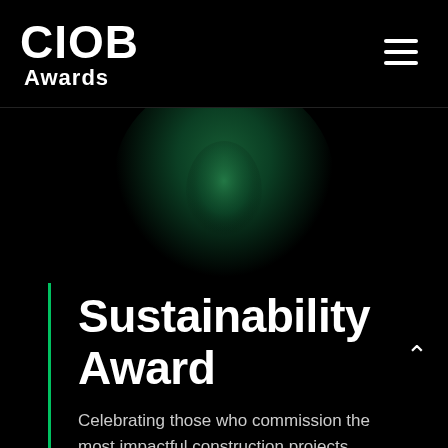CIOB Awards
[Figure (illustration): Dark hero section with a glowing green radial light effect suggesting a trophy or shield shape on a black background]
Sustainability Award
Celebrating those who commission the most impactful construction projects